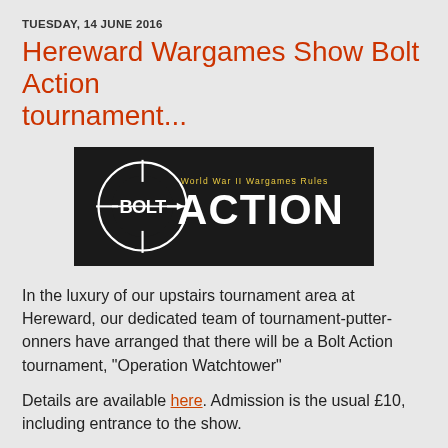TUESDAY, 14 JUNE 2016
Hereward Wargames Show Bolt Action tournament...
[Figure (logo): Bolt Action logo — black rectangle with white circular crosshair/target icon on left, white 'BOLT ACTION' text on right, yellow 'World War II Wargames Rules' subtitle above]
In the luxury of our upstairs tournament area at Hereward, our dedicated team of tournament-putter-onners have arranged that there will be a Bolt Action tournament, "Operation Watchtower"
Details are available here. Admission is the usual £10, including entrance to the show.
Mike Whitaker at 21:15    1 comment:
Share
MONDAY, 13 JUNE 2016